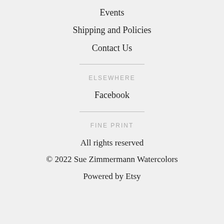Events
Shipping and Policies
Contact Us
ELSEWHERE
Facebook
FINE PRINT
All rights reserved
© 2022 Sue Zimmermann Watercolors
Powered by Etsy